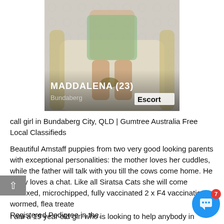[Figure (photo): Photo of a young woman in a green patterned dress seated in a chair, with text overlay showing 'MADDALENA (23)', 'Bundaberg', and 'Escort']
call girl in Bundaberg City, QLD | Gumtree Australia Free Local Classifieds
Beautiful Amstaff puppies from two very good looking parents with exceptional personalities: the mother loves her cuddles, while the father will talk with you till the cows come home. He really loves a chat. Like all Siratsa Cats she will come desexed, microchipped, fully vaccinated 2 x F4 vaccinations , wormed, flea treated, Registered Pedigree in the.
I am a 19 year old girl who is looking to help anybody in